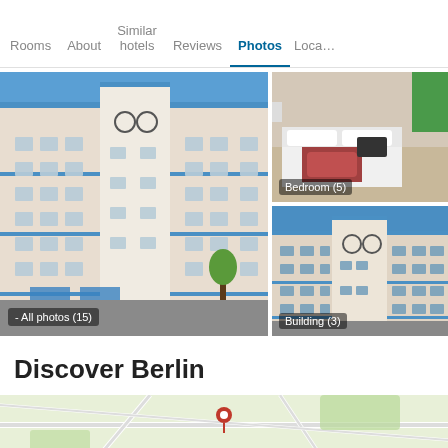Rooms  About  Similar hotels  Reviews  Photos  Loca…
[Figure (photo): Main hotel building exterior photo with label 'All photos (15)']
[Figure (photo): Hotel bedroom interior photo with label 'Bedroom (5)']
[Figure (photo): Hotel exterior building photo with label 'Building (3)']
Discover Berlin
[Figure (map): Map showing Berlin hotel location]